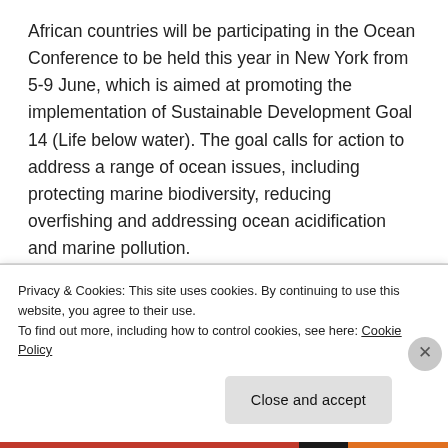African countries will be participating in the Ocean Conference to be held this year in New York from 5-9 June, which is aimed at promoting the implementation of Sustainable Development Goal 14 (Life below water). The goal calls for action to address a range of ocean issues, including protecting marine biodiversity, reducing overfishing and addressing ocean acidification and marine pollution.
Share this:
[Figure (other): Twitter and Facebook social share icon buttons (blue circles with bird and f logos)]
Privacy & Cookies: This site uses cookies. By continuing to use this website, you agree to their use.
To find out more, including how to control cookies, see here: Cookie Policy